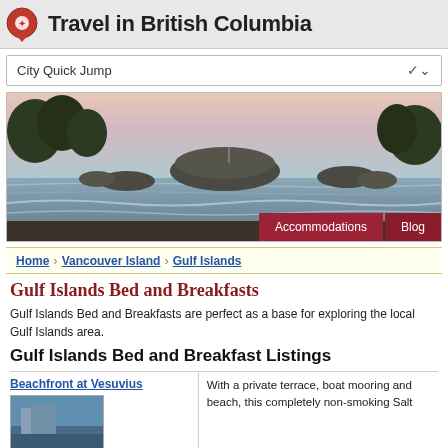Travel in British Columbia
City Quick Jump
[Figure (photo): Coastal seascape with rocky outcroppings and ocean waves at sunset, near British Columbia shoreline. Two red buttons overlay the bottom: 'Accommodations' and 'Blog'.]
Home > Vancouver Island > Gulf Islands
Gulf Islands Bed and Breakfasts
Gulf Islands Bed and Breakfasts are perfect as a base for exploring the local Gulf Islands area.
Gulf Islands Bed and Breakfast Listings
Beachfront at Vesuvius
With a private terrace, boat mooring and beach, this completely non-smoking Salt